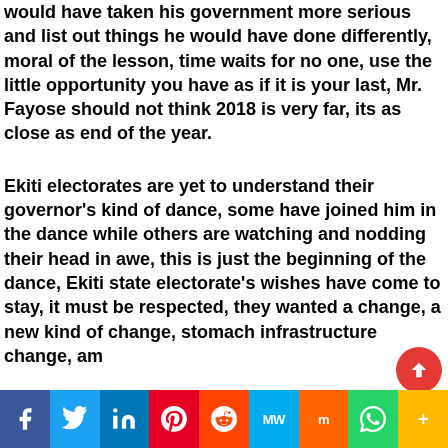would have taken his government more serious and list out things he would have done differently, moral of the lesson, time waits for no one, use the little opportunity you have as if it is your last, Mr. Fayose should not think 2018 is very far, its as close as end of the year.
Ekiti electorates are yet to understand their governor's kind of dance, some have joined him in the dance while others are watching and nodding their head in awe, this is just the beginning of the dance, Ekiti state electorate's wishes have come to stay, it must be respected, they wanted a change, a new kind of change, stomach infrastructure change, am...
f  Twitter  in  Pinterest  Reddit  MW  Mix  WhatsApp  More